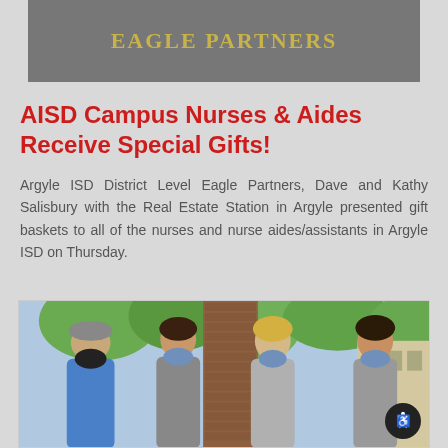EAGLE PARTNERS
AISD Campus Nurses & Aides Receive Special Gifts!
Argyle ISD District Level Eagle Partners, Dave and Kathy Salisbury with the Real Estate Station in Argyle presented gift baskets to all of the nurses and nurse aides/assistants in Argyle ISD on Thursday.
[Figure (photo): Group photo of four people wearing face masks standing outdoors in front of a brick pillar and trees]